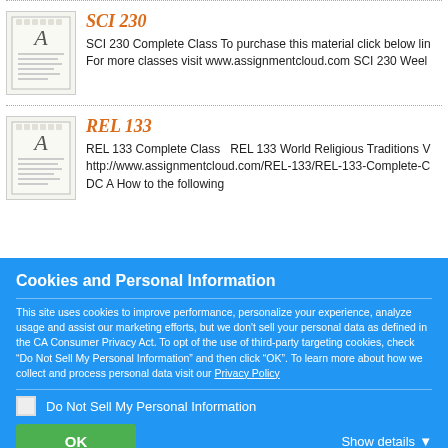[Figure (illustration): Document/file icon for SCI 230 listing]
SCI 230
SCI 230 Complete Class To purchase this material click below lin
For more classes visit www.assignmentcloud.com SCI 230 Weel
[Figure (illustration): Document/file icon for REL 133 listing]
REL 133
REL 133 Complete Class   REL 133 World Religious Traditions V
http://www.assignmentcloud.com/REL-133/REL-133-Complete-C
DC A How to the following
Cookies and Personal Information
This site uses cookies to improve performance, personalize your experience, analyze usage and assist our marketing efforts, but we don't sell your personal data as defined in the CA Consumer Privacy Act. To opt of the use of third-party targeting cookies, check “Do Not Sell My Personal Information” and then click “OK”. To learn more about how we collect and process personal data visit our Privacy Policy
Do Not Sell My Personal Information
OK
Show details